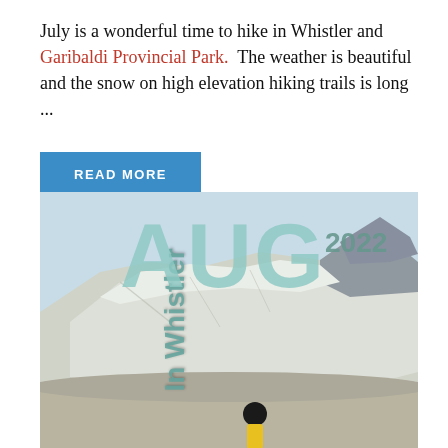July is a wonderful time to hike in Whistler and Garibaldi Provincial Park.  The weather is beautiful and the snow on high elevation hiking trails is long ...
READ MORE
[Figure (photo): Magazine cover image showing a snow-covered mountain landscape with a person standing in the foreground. Overlaid text reads 'In Whistler' vertically on the left, 'AUG' in large teal letters, and '2022' in the upper right.]